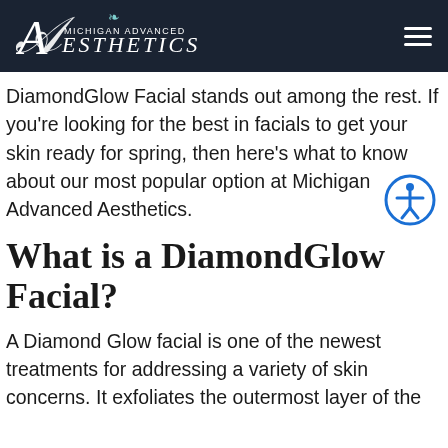Michigan Advanced Aesthetics
DiamondGlow Facial stands out among the rest. If you're looking for the best in facials to get your skin ready for spring, then here's what to know about our most popular option at Michigan Advanced Aesthetics.
What is a DiamondGlow Facial?
A Diamond Glow facial is one of the newest treatments for addressing a variety of skin concerns. It exfoliates the outermost layer of the